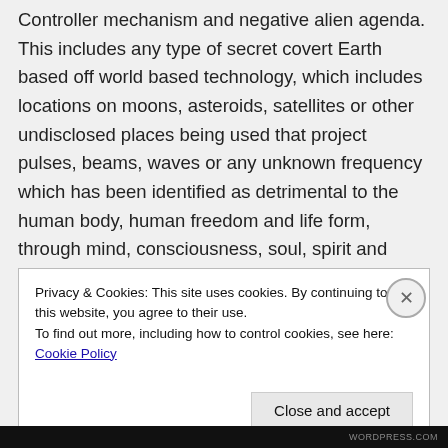Controller mechanism and negative alien agenda. This includes any type of secret covert Earth based off world based technology, which includes locations on moons, asteroids, satellites or other undisclosed places being used that project pulses, beams, waves or any unknown frequency which has been identified as detrimental to the human body, human freedom and life form, through mind, consciousness, soul, spirit and beyond.
Privacy & Cookies: This site uses cookies. By continuing to use this website, you agree to their use.
To find out more, including how to control cookies, see here: Cookie Policy
Close and accept